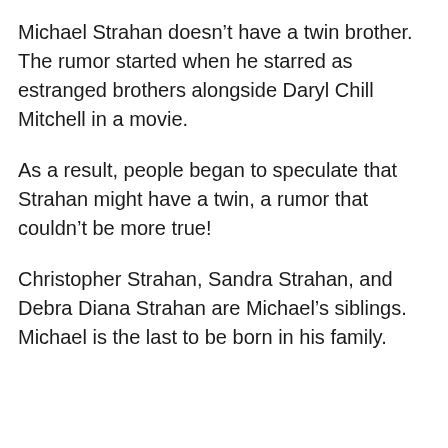Michael Strahan doesn't have a twin brother. The rumor started when he starred as estranged brothers alongside Daryl Chill Mitchell in a movie.
As a result, people began to speculate that Strahan might have a twin, a rumor that couldn't be more true!
Christopher Strahan, Sandra Strahan, and Debra Diana Strahan are Michael's siblings. Michael is the last to be born in his family.